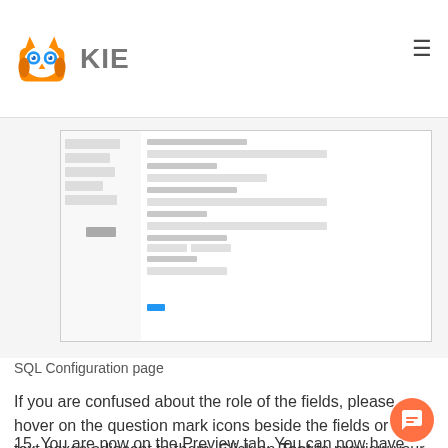KIE
[Figure (screenshot): SQL Configuration page screenshot showing form fields and a blue button]
SQL Configuration page
If you are confused about the role of the fields, please hover on the question mark icons beside the fields or the text boxes adjacent to them. Click on Test to preview your dataset.
15. You are now on the Preview tab. You can now have a look at the data columns and add filters in the tabs above the dataset. You can